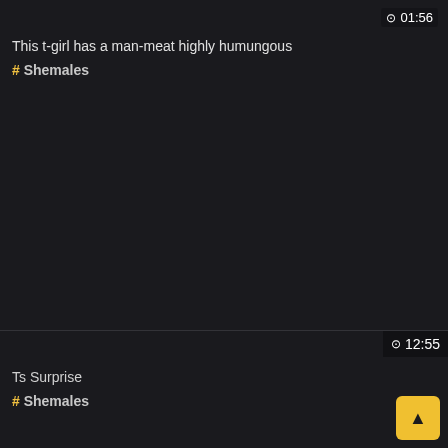01:56
This t-girl has a man-meat highly humungous
# Shemales
12:55
Ts Surprise
# Shemales